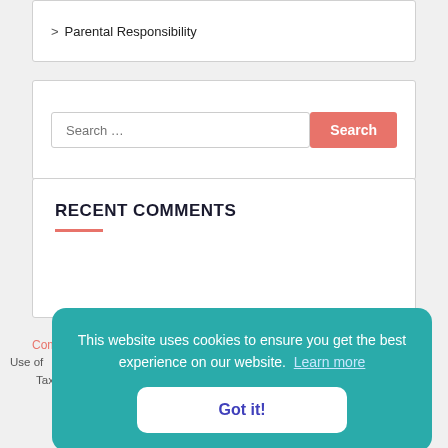> Parental Responsibility
[Figure (screenshot): Search bar with placeholder text 'Search ...' and a coral/red 'Search' button]
RECENT COMMENTS
This website uses cookies to ensure you get the best experience on our website.  Learn more
Got it!
Co... Use o... Ta... products and services on this website.